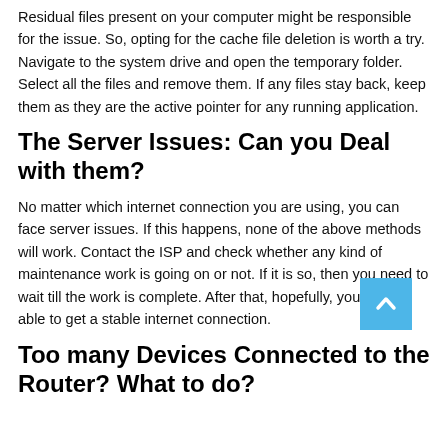Residual files present on your computer might be responsible for the issue. So, opting for the cache file deletion is worth a try. Navigate to the system drive and open the temporary folder. Select all the files and remove them. If any files stay back, keep them as they are the active pointer for any running application.
The Server Issues: Can you Deal with them?
No matter which internet connection you are using, you can face server issues. If this happens, none of the above methods will work. Contact the ISP and check whether any kind of maintenance work is going on or not. If it is so, then you need to wait till the work is complete. After that, hopefully, you will be able to get a stable internet connection.
Too many Devices Connected to the Router? What to do?